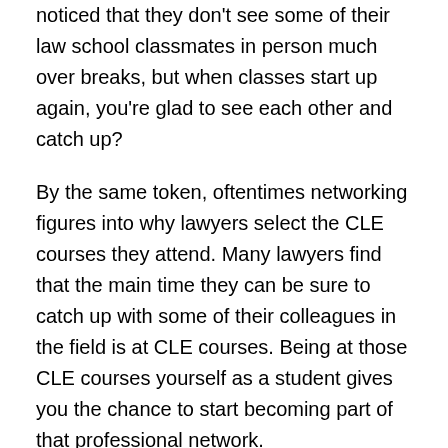noticed that they don't see some of their law school classmates in person much over breaks, but when classes start up again, you're glad to see each other and catch up?
By the same token, oftentimes networking figures into why lawyers select the CLE courses they attend. Many lawyers find that the main time they can be sure to catch up with some of their colleagues in the field is at CLE courses. Being at those CLE courses yourself as a student gives you the chance to start becoming part of that professional network.
Another reason to start now is that some CLE covers topics too narrow or too new to be covered by a law school course. By attending these courses, you can highlight an interest in emerging legal issues that won't fit in your class schedule.